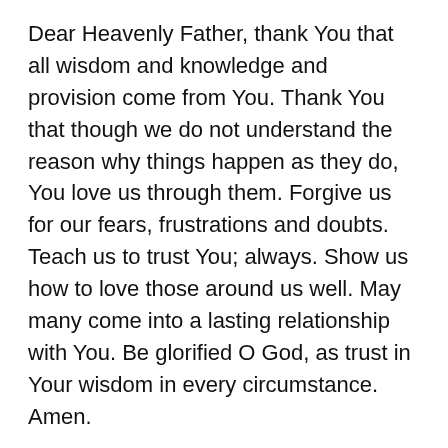Dear Heavenly Father, thank You that all wisdom and knowledge and provision come from You. Thank You that though we do not understand the reason why things happen as they do, You love us through them. Forgive us for our fears, frustrations and doubts. Teach us to trust You; always. Show us how to love those around us well. May many come into a lasting relationship with You. Be glorified O God, as trust in Your wisdom in every circumstance. Amen.
© Shannon Elizabeth Grabrick and Revelations in Writing, May 2011 – present